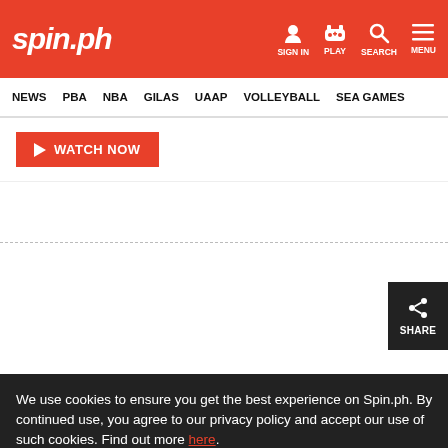spin.ph — SIGN IN   PLAY   SEARCH   MENU
NEWS   PBA   NBA   GILAS   UAAP   VOLLEYBALL   SEA GAMES
WATCH NOW
SHARE
We use cookies to ensure you get the best experience on Spin.ph. By continued use, you agree to our privacy policy and accept our use of such cookies. Find out more here.
I DISAGREE
I AGREE